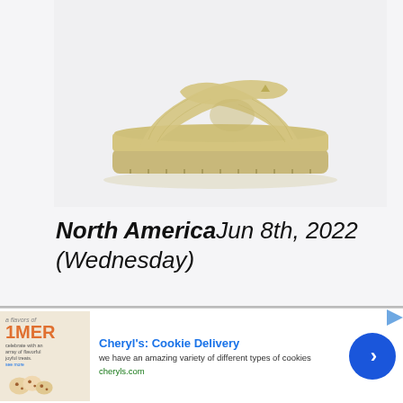[Figure (photo): Beige/tan platform slide sandal with crossband strap, shown on white/light grey background. The sandal has a thick chunky sole with tread markings and wide woven crossover straps with a small logo detail.]
North AmericaJun 8th, 2022 (Wednesday)
[Figure (photo): Advertisement banner for Cheryl's Cookie Delivery. Shows ad image on left with text '1MER' and summer treats, followed by ad copy: 'Cheryl's: Cookie Delivery - we have an amazing variety of different types of cookies - cheryls.com'. Has close button (X) and blue circular chevron button on right.]